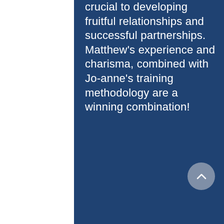crucial to developing fruitful relationships and successful partnerships. Matthew's experience and charisma, combined with Jo-anne's training methodology are a winning combination!
[Figure (other): A circular grey scroll-to-top button with an upward chevron arrow icon, positioned at the lower right of the blue content area.]